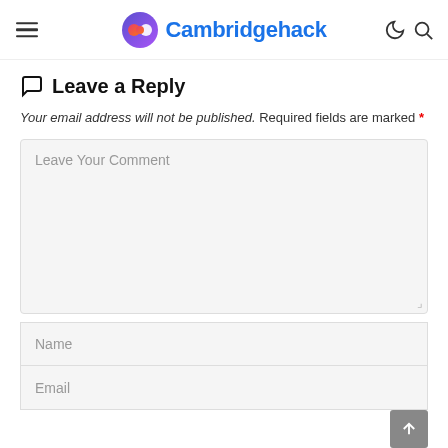Cambridgehack
Leave a Reply
Your email address will not be published. Required fields are marked *
[Figure (screenshot): Comment text area input box with placeholder 'Leave Your Comment']
[Figure (screenshot): Name input field with placeholder 'Name']
[Figure (screenshot): Email input field with placeholder 'Email']